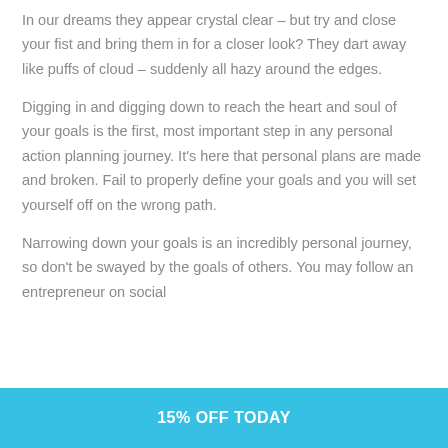In our dreams they appear crystal clear – but try and close your fist and bring them in for a closer look? They dart away like puffs of cloud – suddenly all hazy around the edges.
Digging in and digging down to reach the heart and soul of your goals is the first, most important step in any personal action planning journey. It's here that personal plans are made and broken. Fail to properly define your goals and you will set yourself off on the wrong path.
Narrowing down your goals is an incredibly personal journey, so don't be swayed by the goals of others. You may follow an entrepreneur on social
15% OFF TODAY